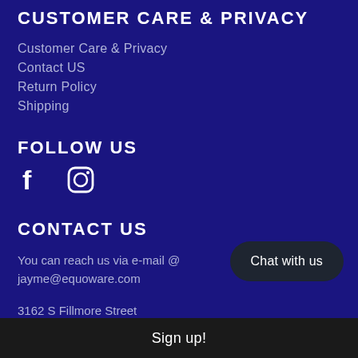CUSTOMER CARE & PRIVACY
Customer Care & Privacy
Contact US
Return Policy
Shipping
FOLLOW US
[Figure (illustration): Facebook and Instagram social media icons in white on dark blue background]
CONTACT US
You can reach us via e-mail @
jayme@equoware.com
3162 S Fillmore Street
Chat with us
Sign up!